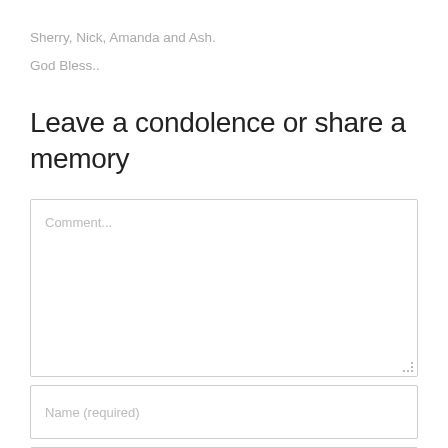Sherry, Nick, Amanda and Ash.
God Bless..
Leave a condolence or share a memory
Comment... [textarea placeholder]
Name (required) [input placeholder]
Email (required) [input placeholder]